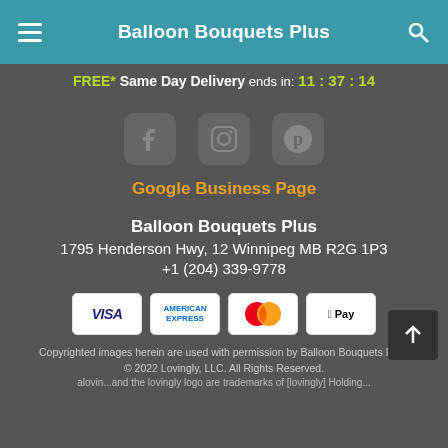Balloon Bouquets Plus
FREE* Same Day Delivery ends in: 11:37:14
[Figure (illustration): Social media icons: Facebook, Instagram, Pinterest]
Google Business Page
Balloon Bouquets Plus
1795 Henderson Hwy, 12 Winnipeg MB R2G 1P3
+1 (204) 339-9778
[Figure (illustration): Payment method icons: Visa, American Express, Mastercard, Apple Pay]
Copyrighted images herein are used with permission by Balloon Bouquets Plus.
© 2022 Lovingly, LLC. All Rights Reserved.